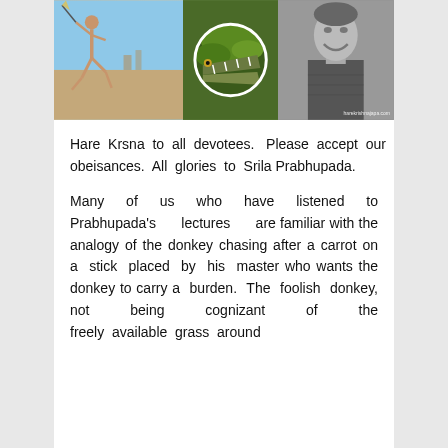[Figure (photo): A composite banner image with three photos: left shows a person running across sandy terrain, center shows a circular inset of an animal (possibly a crocodile or alligator) with open jaws among foliage, right shows a smiling person in black and white portrait. Watermark reads harekrishnajapa.com]
Hare Krsna to all devotees.  Please accept our humble obeisances.  All glories to Srila Prabhupada.
Many of us who have listened to Prabhupada's lectures are familiar with the analogy of the donkey chasing after a carrot on a stick placed by his master who wants the donkey to carry a burden. The foolish donkey, not being cognizant of the freely available grass around